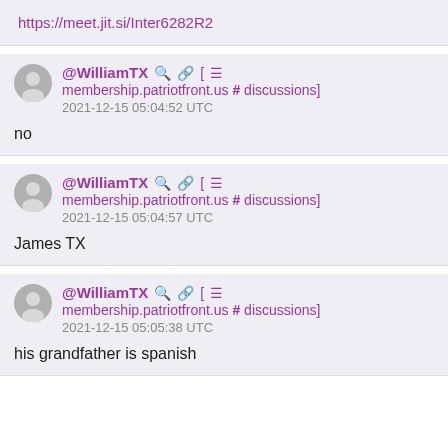https://meet.jit.si/Inter6282R2
@WilliamTX [ membership.patriotfront.us # discussions] 2021-12-15 05:04:52 UTC
no
@WilliamTX [ membership.patriotfront.us # discussions] 2021-12-15 05:04:57 UTC
James TX
@WilliamTX [ membership.patriotfront.us # discussions] 2021-12-15 05:05:38 UTC
his grandfather is spanish